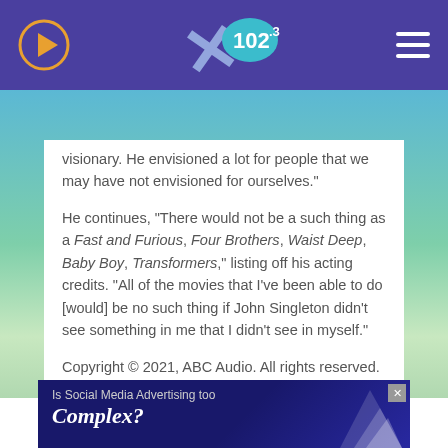X 102.3
visionary. He envisioned a lot for people that we may have not envisioned for ourselves."
He continues, "There would not be a such thing as a Fast and Furious, Four Brothers, Waist Deep, Baby Boy, Transformers," listing off his acting credits. "All of the movies that I've been able to do [would] be no such thing if John Singleton didn't see something in me that I didn't see in myself."
Copyright © 2021, ABC Audio. All rights reserved.
[Figure (screenshot): Advertisement banner: Is Social Media Advertising too Complex?]